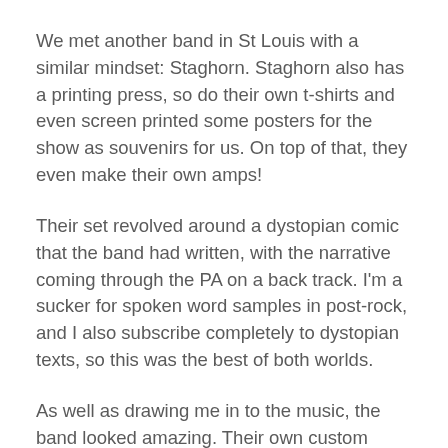We met another band in St Louis with a similar mindset: Staghorn. Staghorn also has a printing press, so do their own t-shirts and even screen printed some posters for the show as souvenirs for us. On top of that, they even make their own amps!
Their set revolved around a dystopian comic that the band had written, with the narrative coming through the PA on a back track. I'm a sucker for spoken word samples in post-rock, and I also subscribe completely to dystopian texts, so this was the best of both worlds.
As well as drawing me in to the music, the band looked amazing. Their own custom amps look unlike most I've seen. They also had two lights that included salt lamps and spotlight. All very…it was hard to…